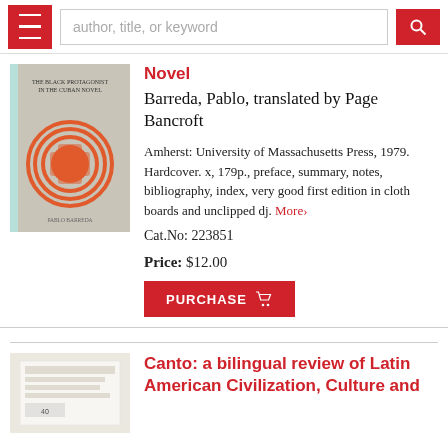author, title, or keyword
Novel
Barreda, Pablo, translated by Page Bancroft
Amherst: University of Massachusetts Press, 1979. Hardcover. x, 179p., preface, summary, notes, bibliography, index, very good first edition in cloth boards and unclipped dj. More>
Cat.No: 223851
Price: $12.00
PURCHASE
Canto: a bilingual review of Latin American Civilization, Culture and